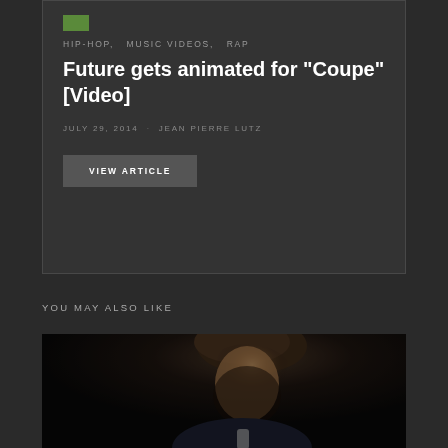HIP-HOP,   MUSIC VIDEOS,   RAP
Future gets animated for "Coupe" [Video]
JULY 29, 2014  ·  JEAN PIERRE LUTZ
VIEW ARTICLE
YOU MAY ALSO LIKE
[Figure (photo): Dark moody photo of a man in a suit with tie, head bowed down, lit from above against a dark background]